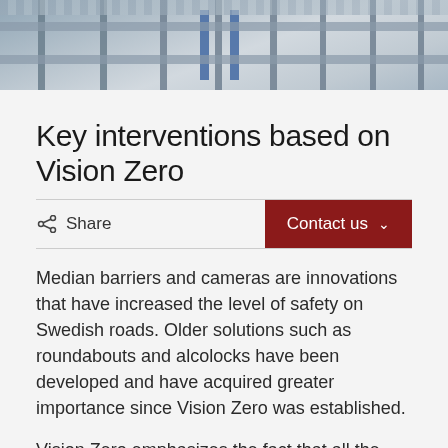[Figure (photo): Photo of metal median barrier/fence on a Swedish road, showing horizontal and vertical steel bars in gray and blue tones]
Key interventions based on Vision Zero
Share   Contact us
Median barriers and cameras are innovations that have increased the level of safety on Swedish roads. Older solutions such as roundabouts and alcolocks have been developed and have acquired greater importance since Vision Zero was established.
Vision Zero emphasizes the fact that all the different components of the road transport system belong together and influence each other. If an accident leads to serious